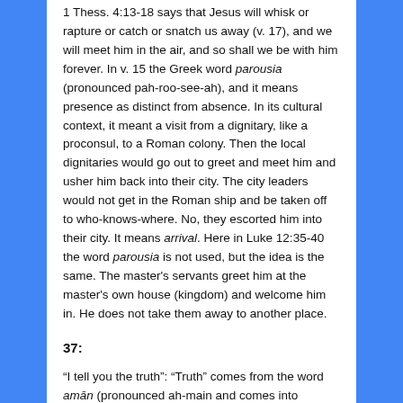1 Thess. 4:13-18 says that Jesus will whisk or rapture or catch or snatch us away (v. 17), and we will meet him in the air, and so shall we be with him forever. In v. 15 the Greek word parousia (pronounced pah-roo-see-ah), and it means presence as distinct from absence. In its cultural context, it meant a visit from a dignitary, like a proconsul, to a Roman colony. Then the local dignitaries would go out to greet and meet him and usher him back into their city. The city leaders would not get in the Roman ship and be taken off to who-knows-where. No, they escorted him into their city. It means arrival. Here in Luke 12:35-40 the word parousia is not used, but the idea is the same. The master's servants greet him at the master's own house (kingdom) and welcome him in. He does not take them away to another place.
37:
“I tell you the truth”: “Truth” comes from the word amēn (pronounced ah-main and comes into English as amen). It expresses the authority of the one who utters it. The Hebrew root ‘mn means faithfulness, reliability and